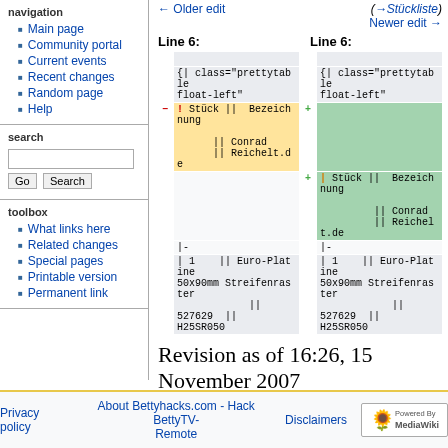Main page
Community portal
Current events
Recent changes
Random page
Help
search
toolbox
What links here
Related changes
Special pages
Printable version
Permanent link
← Older edit
(→Stückliste)
Newer edit →
Line 6:
Line 6:
| {| class="prettytable float-left" | {| class="prettytable float-left" |
| ! Stück ||  Bezeichnung
|| Conrad
|| Reichelt.de | | Stück ||  Bezeichnung
|| Conrad
|| Reichelt.de |
| |- | |- |
| | 1   || Euro-Platine 50x90mm Streifenraster ||
527629  ||
H25SR050 | | 1   || Euro-Platine 50x90mm Streifenraster ||
527629  ||
H25SR050 |
Revision as of 16:26, 15 November 2007
Privacy policy   About Bettyhacks.com - Hack BettyTV-Remote   Disclaimers